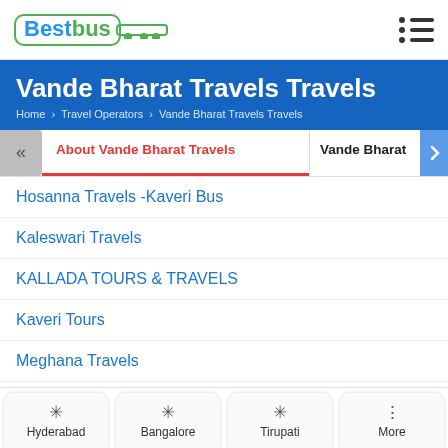BestBus
Vande Bharat Travels Travels
Home > Travel Operators > Vande Bharat Travels Travels
About Vande Bharat Travels | Vande Bharat T
Hosanna Travels -Kaveri Bus
Kaleswari Travels
KALLADA TOURS & TRAVELS
Kaveri Tours
Meghana Travels
Morning Star Travels Old
National Travel (NTS)-Banglr
Hyderabad | Bangalore | Tirupati | More